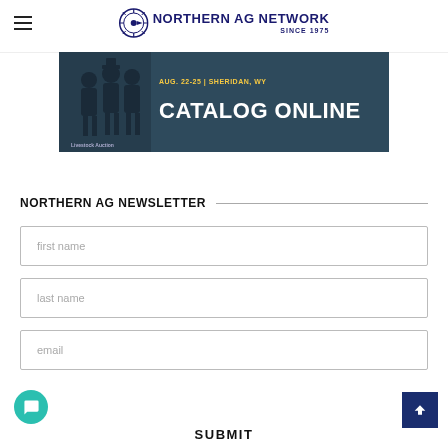Northern AG Network Since 1975
[Figure (illustration): Livestock auction banner: dark teal background, silhouette figures of animals/people on left, text 'AUG. 22-25 | SHERIDAN, WY' and 'CATALOG ONLINE' on right]
NORTHERN AG NEWSLETTER
first name
last name
email
SUBMIT